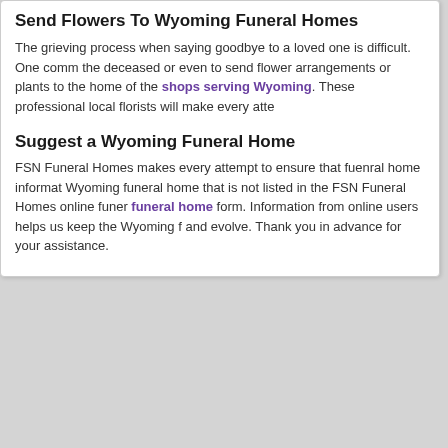Send Flowers To Wyoming Funeral Homes
The grieving process when saying goodbye to a loved one is difficult. One comm the deceased or even to send flower arrangements or plants to the home of the shops serving Wyoming. These professional local florists will make every atte
Suggest a Wyoming Funeral Home
FSN Funeral Homes makes every attempt to ensure that fuenral home informat Wyoming funeral home that is not listed in the FSN Funeral Homes online funer funeral home form. Information from online users helps us keep the Wyoming f and evolve. Thank you in advance for your assistance.
Funeral Guides
Planning A Funeral
Monuments
Cremation Services Guide
Estate Planning
Grief Support Resources
Funeral Flower Planning
Funeral Etiquette
Additional R